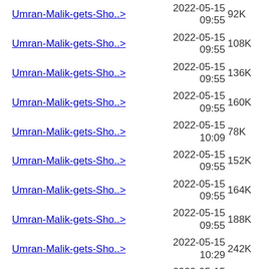Umran-Malik-gets-Sho..> 2022-05-15 09:55 92K
Umran-Malik-gets-Sho..> 2022-05-15 09:55 108K
Umran-Malik-gets-Sho..> 2022-05-15 09:55 136K
Umran-Malik-gets-Sho..> 2022-05-15 09:55 160K
Umran-Malik-gets-Sho..> 2022-05-15 10:09 78K
Umran-Malik-gets-Sho..> 2022-05-15 09:55 152K
Umran-Malik-gets-Sho..> 2022-05-15 09:55 164K
Umran-Malik-gets-Sho..> 2022-05-15 09:55 188K
Umran-Malik-gets-Sho..> 2022-05-15 10:29 242K
Umran-Malik-gets-Sho..> 2022-05-15 10:19 572K
Umran-Malik-gets-Sho..> 2022-05-15 09:55 304K
Umran-Malik-gets-Sho..> 2022-05-23 ...